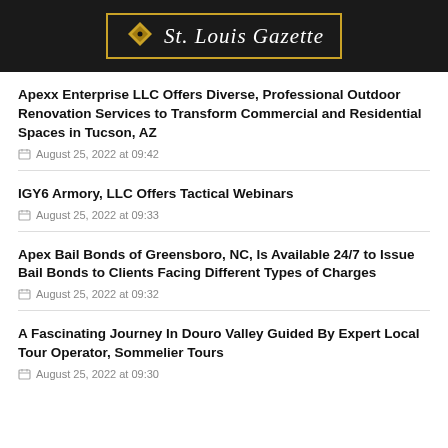St. Louis Gazette
Apexx Enterprise LLC Offers Diverse, Professional Outdoor Renovation Services to Transform Commercial and Residential Spaces in Tucson, AZ
August 25, 2022 at 09:42
IGY6 Armory, LLC Offers Tactical Webinars
August 25, 2022 at 09:33
Apex Bail Bonds of Greensboro, NC, Is Available 24/7 to Issue Bail Bonds to Clients Facing Different Types of Charges
August 25, 2022 at 09:32
A Fascinating Journey In Douro Valley Guided By Expert Local Tour Operator, Sommelier Tours
August 25, 2022 at 09:30